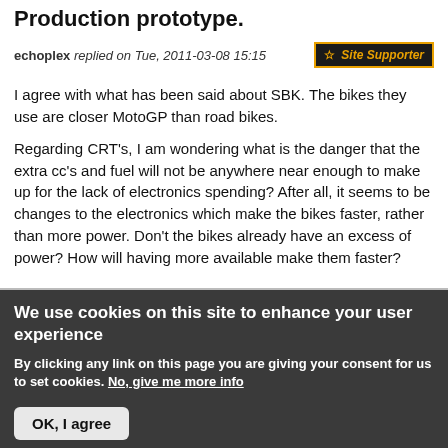Production prototype.
echoplex replied on Tue, 2011-03-08 15:15
I agree with what has been said about SBK. The bikes they use are closer MotoGP than road bikes.
Regarding CRT's, I am wondering what is the danger that the extra cc's and fuel will not be anywhere near enough to make up for the lack of electronics spending? After all, it seems to be changes to the electronics which make the bikes faster, rather than more power. Don't the bikes already have an excess of power? How will having more available make them faster?
We use cookies on this site to enhance your user experience
By clicking any link on this page you are giving your consent for us to set cookies. No, give me more info
OK, I agree